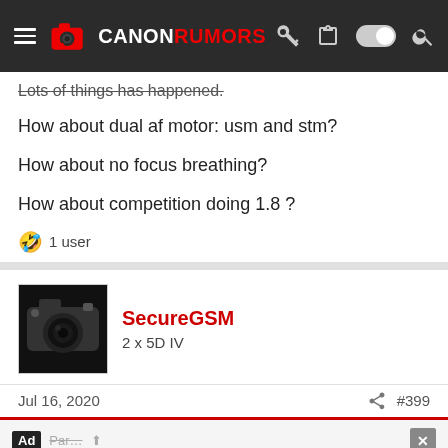CANONRUMORS
Lots of things has happened.
How about dual af motor: usm and stm?
How about no focus breathing?
How about competition doing 1.8 ?
🤣 1 user
SecureGSM
2 x 5D IV
Jul 16, 2020  #399
Advertisement
Ef135 f2 is 24 years old